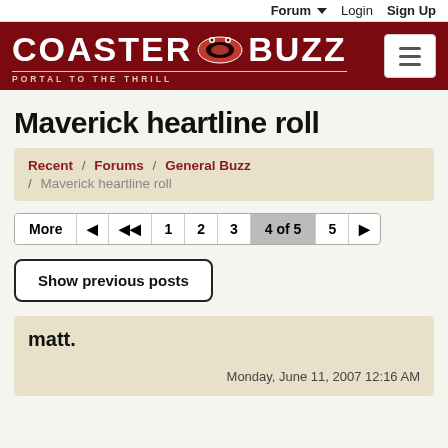Forum  Login  Sign Up
[Figure (logo): CoasterBuzz logo with bat-eye icon and tagline PORTAL TO THE THRILL on dark red background]
Maverick heartline roll
Recent / Forums / General Buzz / Maverick heartline roll
More  |◄  |◄◄  1  2  3  4 of 5  5  ►|
Show previous posts
matt.
Monday, June 11, 2007 12:16 AM